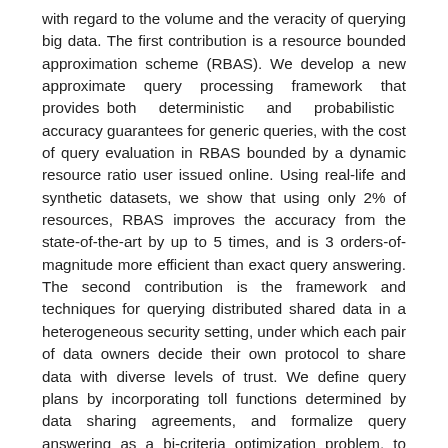with regard to the volume and the veracity of querying big data. The first contribution is a resource bounded approximation scheme (RBAS). We develop a new approximate query processing framework that provides both deterministic and probabilistic accuracy guarantees for generic queries, with the cost of query evaluation in RBAS bounded by a dynamic resource ratio user issued online. Using real-life and synthetic datasets, we show that using only 2% of resources, RBAS improves the accuracy from the state-of-the-art by up to 5 times, and is 3 orders-of-magnitude more efficient than exact query answering. The second contribution is the framework and techniques for querying distributed shared data in a heterogeneous security setting, under which each pair of data owners decide their own protocol to share data with diverse levels of trust. We define query plans by incorporating toll functions determined by data sharing agreements, and formalize query answering as a bi-criteria optimization problem, to minimize both data sharing toll and parallel query evaluation cost. We give both the complexity analysis as well as a set of approximation